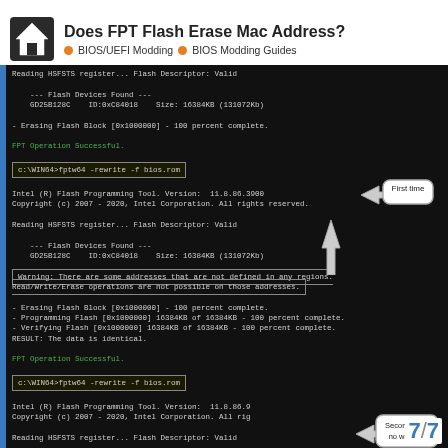Does FPT Flash Erase Mac Address?
BIOS/UEFI Modding   BIOS Modding Guides
[Figure (screenshot): Terminal screenshots showing FPT (Flash Programming Tool) operations with annotated command boxes and arrows indicating first time and second time (no warning) runs of 'c:\WIN64>fptw64 -rewrite -f bios.rom']
7 / 7